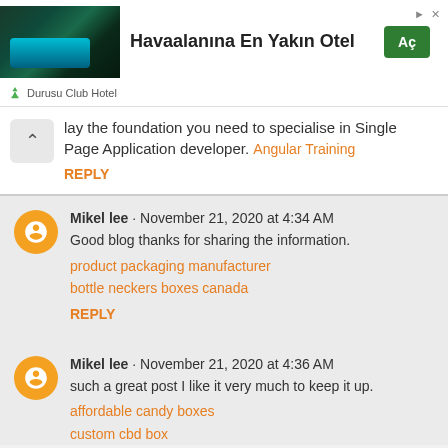[Figure (screenshot): Ad banner for Durusu Club Hotel with hotel pool image, text 'Havaalanına En Yakın Otel' and green 'Aç' button]
lay the foundation you need to specialise in Single Page Application developer. Angular Training
REPLY
Mikel lee · November 21, 2020 at 4:34 AM
Good blog thanks for sharing the information.
product packaging manufacturer
bottle neckers boxes canada
REPLY
Mikel lee · November 21, 2020 at 4:36 AM
such a great post I like it very much to keep it up.
affordable candy boxes
custom cbd box